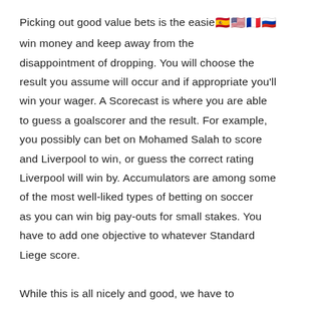Picking out good value bets is the easiest way to win money and keep away from the disappointment of dropping. You will choose the result you assume will occur and if appropriate you'll win your wager. A Scorecast is where you are able to guess a goalscorer and the result. For example, you possibly can bet on Mohamed Salah to score and Liverpool to win, or guess the correct rating Liverpool will win by. Accumulators are among some of the most well-liked types of betting on soccer as you can win big pay-outs for small stakes. You have to add one objective to whatever Standard Liege score.

While this is all nicely and good, we have to